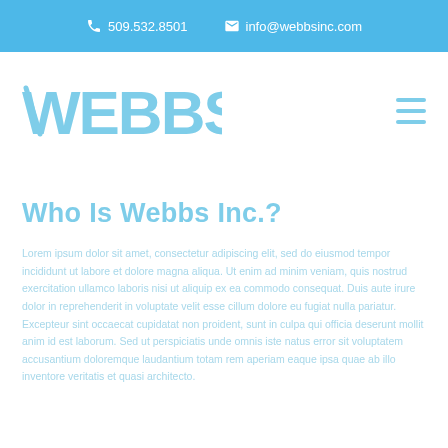📞 509.532.8501   ✉ info@webbsinc.com
[Figure (logo): Webbs Inc. logo in light blue stylized text reading WEBBS]
Who Is Webbs Inc.?
Lorem ipsum style placeholder body text describing Webbs Inc. in light blue color